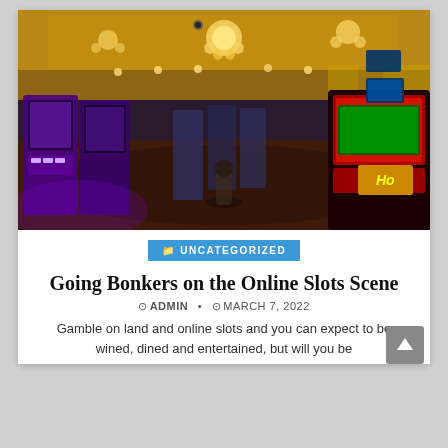[Figure (photo): Interior of a casino floor with rows of colorful slot machines, ornate patterned carpet, chandeliers and warm golden ceiling lighting]
UNCATEGORIZED
Going Bonkers on the Online Slots Scene
ADMIN • MARCH 7, 2022
Gamble on land and online slots and you can expect to be wined, dined and entertained, but will you be